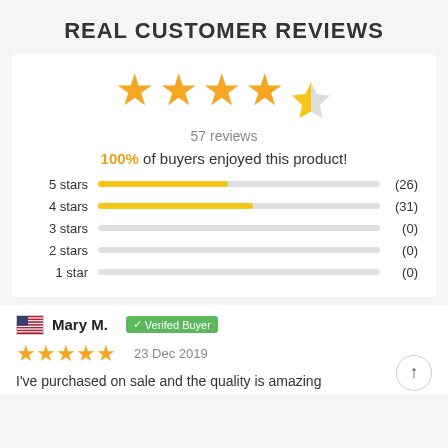REAL CUSTOMER REVIEWS
[Figure (infographic): 4.5 out of 5 stars rating with 57 reviews, 100% of buyers enjoyed this product, bar chart showing 5 stars (26), 4 stars (31), 3 stars (0), 2 stars (0), 1 star (0)]
Mary M. Verifed Buyer
23 Dec 2019
I've purchased on sale and the quality is amazing